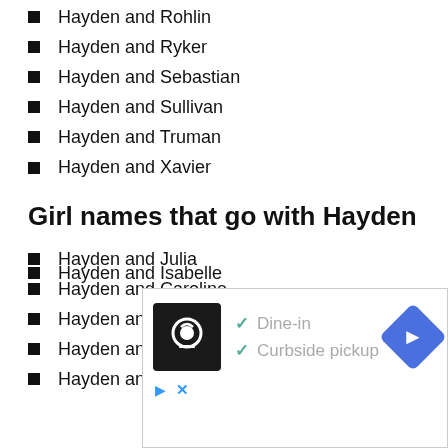Hayden and Rohlin
Hayden and Ryker
Hayden and Sebastian
Hayden and Sullivan
Hayden and Truman
Hayden and Xavier
Girl names that go with Hayden
Hayden and Julia
Hayden and Caroline
Hayden and Annabel
Hayden and Sophie
Hayden and Claire
Hayden and Isabelle
[Figure (other): Advertisement banner with restaurant logo, checkmarks for Dine-in and Curbside pickup, and navigation arrow icon]